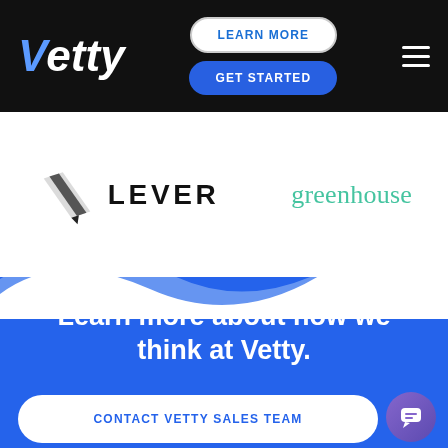Vetty | LEARN MORE | GET STARTED
[Figure (logo): Lever logo with stylized pencil icon and LEVER wordmark]
[Figure (logo): greenhouse logo in teal/green color]
Learn more about how we think at Vetty.
CONTACT VETTY SALES TEAM